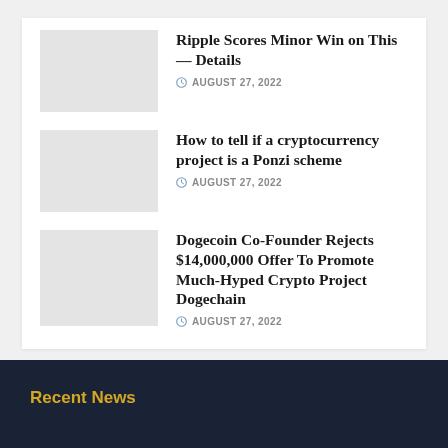Ripple Scores Minor Win on This — Details
AUGUST 27, 2022
How to tell if a cryptocurrency project is a Ponzi scheme
AUGUST 27, 2022
Dogecoin Co-Founder Rejects $14,000,000 Offer To Promote Much-Hyped Crypto Project Dogechain
AUGUST 27, 2022
Recent News